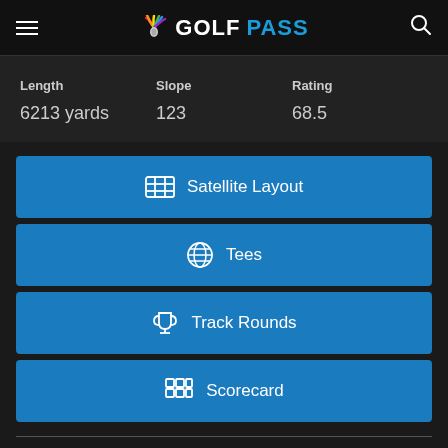GOLFPASS
| Length | Slope | Rating |
| --- | --- | --- |
| 6213 yards | 123 | 68.5 |
Satellite Layout
Tees
Track Rounds
Scorecard
Course Details